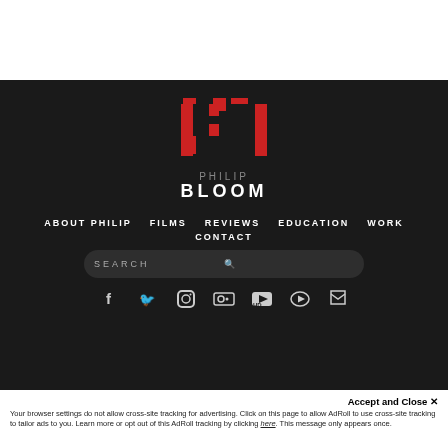[Figure (logo): Philip Bloom logo: red geometric PB lettermark above text PHILIP BLOOM in white/grey on dark background]
ABOUT PHILIP   FILMS   REVIEWS   EDUCATION   WORK   CONTACT
SEARCH
[Figure (infographic): Social media icons row: Facebook, Twitter, Instagram, Flickr, YouTube, Vimeo, RSS]
Accept and Close ✕
Your browser settings do not allow cross-site tracking for advertising. Click on this page to allow AdRoll to use cross-site tracking to tailor ads to you. Learn more or opt out of this AdRoll tracking by clicking here. This message only appears once.